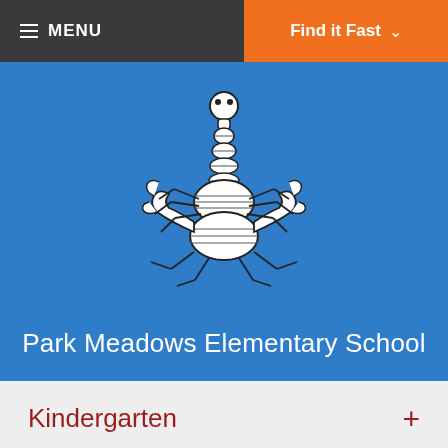MENU | Find it Fast
[Figure (illustration): Black and white illustration of a scorpion mascot with striped segments and raised tail, serving as school mascot logo for Park Meadows Elementary School]
Park Meadows Elementary School
Kindergarten +
View Full Site